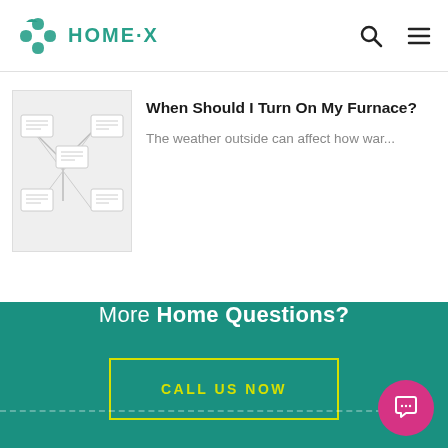HOME·X
[Figure (illustration): Thumbnail illustration with gray background and small document/flowchart icons]
When Should I Turn On My Furnace?
The weather outside can affect how war...
More Home Questions?
CALL US NOW